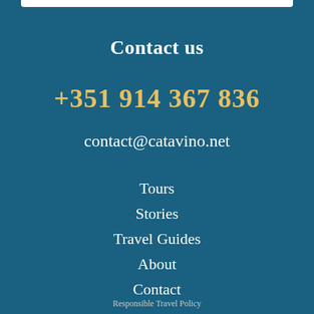Contact us
+351 914 367 836
contact@catavino.net
Tours
Stories
Travel Guides
About
Contact
Responsible Travel Policy